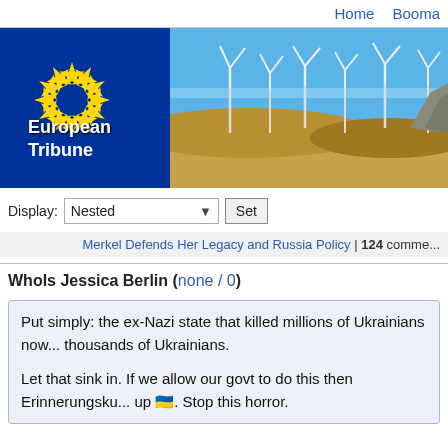Home  Booma...
[Figure (illustration): European Tribune website banner: left side shows EU flag (blue background with yellow stars) and 'European Tribune' text logo; right side shows a wind farm landscape under blue sky]
Display: Nested [dropdown] Set
Merkel Defends Her Legacy and Russia Policy | 124 comme...
WhoIs Jessica Berlin (none / 0)
Put simply: the ex-Nazi state that killed millions of Ukrainians now... thousands of Ukrainians.

Let that sink in. If we allow our govt to do this then Erinnerungsku... up 🇺🇦. Stop this horror.